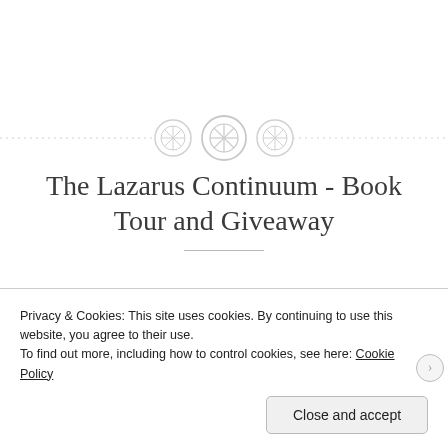[Figure (illustration): Decorative section divider with three button/gear-like circular ornaments in light gray on a dotted horizontal line, set against a white background.]
The Lazarus Continuum - Book Tour and Giveaway
July 26, 2018   The Book Dragon   Leave a comment
Privacy & Cookies: This site uses cookies. By continuing to use this website, you agree to their use.
To find out more, including how to control cookies, see here: Cookie Policy
Close and accept